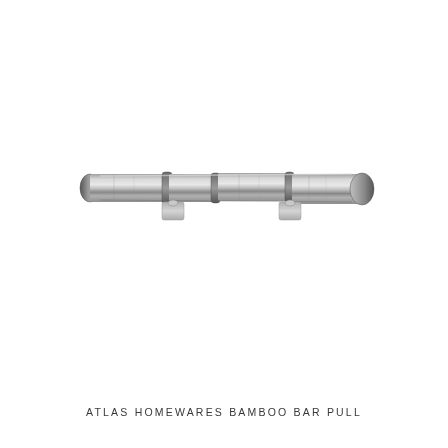[Figure (photo): A metallic bamboo-style bar pull hardware piece. The bar pull is silver/gunmetal in color with a bamboo joint texture pattern, featuring two mounting posts underneath. The pull is elongated and horizontal against a white background.]
ATLAS HOMEWARES BAMBOO BAR PULL